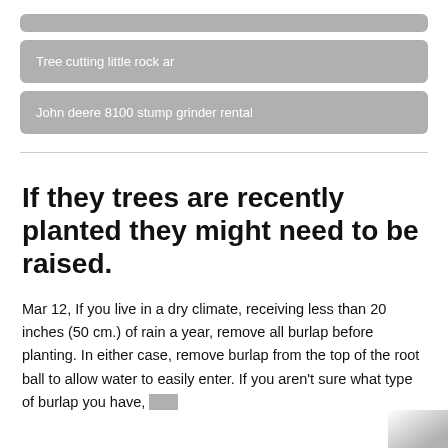Tree cutting little rock ar
John deere 8100 stump grinder rental
If they trees are recently planted they might need to be raised.
Mar 12, If you live in a dry climate, receiving less than 20 inches (50 cm.) of rain a year, remove all burlap before planting. In either case, remove burlap from the top of the root ball to allow water to easily enter. If you aren't sure what type of burlap you have, burn